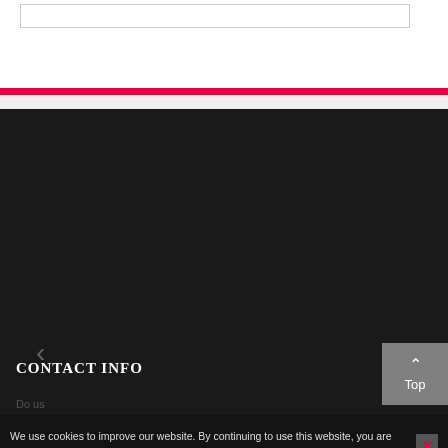[Figure (screenshot): White top area with a search/input box outlined in gray]
[Figure (screenshot): Red horizontal banner bar below the white area]
[Figure (screenshot): Dark/black slideshow area with left chevron arrow and right chevron arrow navigation buttons]
CONTACT INFO
Do us
[Figure (screenshot): Gray 'Top' button with upward chevron arrow in bottom-right corner]
We use cookies to improve our website. By continuing to use this website, you are giving consent to cookies being used. More details…